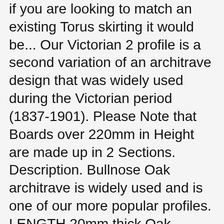if you are looking to match an existing Torus skirting it would be... Our Victorian 2 profile is a second variation of an architrave design that was widely used during the Victorian period (1837-1901). Please Note that Boards over 220mm in Height are made up in 2 Sections. Description. Bullnose Oak architrave is widely used and is one of our more popular profiles. LENGTH 20mm thick Oak Architrave with Bullnose design, unfinished, allowing you to choose the exact finish you need for your Architrave to finish your room decoration or match the Skirting Boards of your choice. See our matching Oak Architrave. The Ovolo moulding creates a very elegant taper that means the profile appears much less 'bulky' when installed. A round edge skirting board machined from solid prime grade European oak. Email: skirtingboardsdirect@gmail.com This may be important if you are looking to match an existing lambs tongue architrave with our design. - Bullnose. Our Torus/Bullnose reversible dual profile oak skirting offers a flexible solution and can be used for hiding unsightly cables. Bullnose Oak Skirting Board is